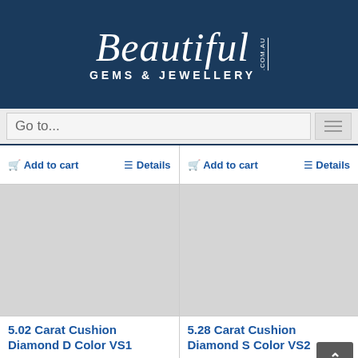[Figure (logo): Beautiful Gems & Jewellery .com.au logo in white script on dark navy background]
Go to...
Add to cart   Details
Add to cart   Details
[Figure (photo): Product image placeholder (grey) for 5.02 Carat Cushion Diamond D Color VS1]
[Figure (photo): Product image placeholder (grey) for 5.28 Carat Cushion Diamond S Color VS2]
5.02 Carat Cushion Diamond D Color VS1
$ 197,000
5.28 Carat Cushion Diamond S Color VS2
$ 54,350